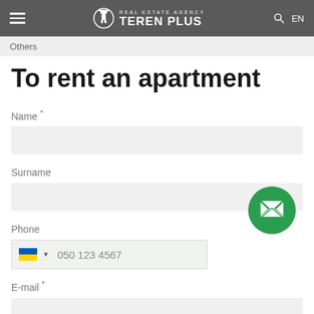REAL ESTATE AGENCY TEREN PLUS — EN
Others
To rent an apartment
Name *
Surname
Phone
050 123 4567
E-mail *